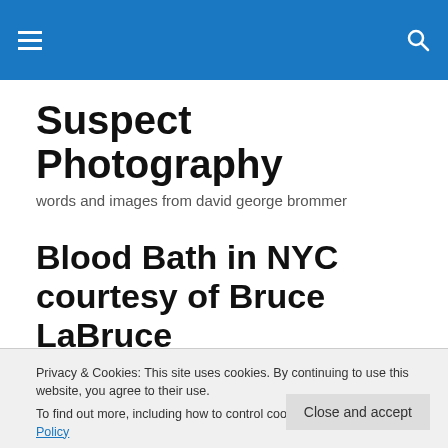Suspect Photography — navigation bar with hamburger menu and search icon
Suspect Photography
words and images from david george brommer
Blood Bath in NYC courtesy of Bruce LaBruce
Privacy & Cookies: This site uses cookies. By continuing to use this website, you agree to their use.
To find out more, including how to control cookies, see here: Cookie Policy
Close and accept